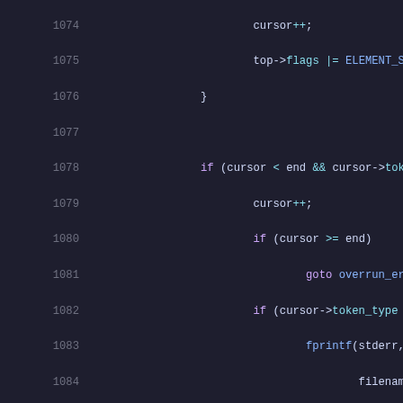[Figure (screenshot): Source code listing in a dark-themed code editor showing C code lines 1074-1094, with syntax highlighting. Line numbers in gray on the left, keywords in purple, function names in blue, strings in green, and numeric literals in orange.]